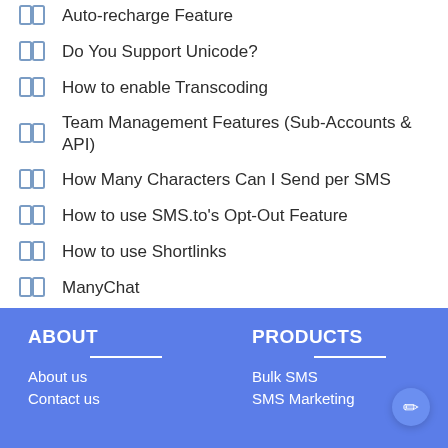Auto-recharge Feature
Do You Support Unicode?
How to enable Transcoding
Team Management Features (Sub-Accounts & API)
How Many Characters Can I Send per SMS
How to use SMS.to's Opt-Out Feature
How to use Shortlinks
ManyChat
What kind of SMS Can I Send in the Platform
How to Check SMS Logs & Status
ABOUT | About us | Contact us | PRODUCTS | Bulk SMS | SMS Marketing